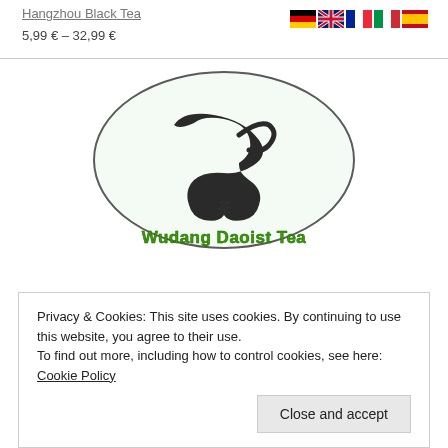Hangzhou Black Tea
5,99 € – 32,99 €
[Figure (logo): Wudang Daoist Tea logo: oval outline with a teapot spout silhouette and Chinese character 茶, with green text 'Wudang Daoist Tea' below]
Privacy & Cookies: This site uses cookies. By continuing to use this website, you agree to their use.
To find out more, including how to control cookies, see here: Cookie Policy
Close and accept